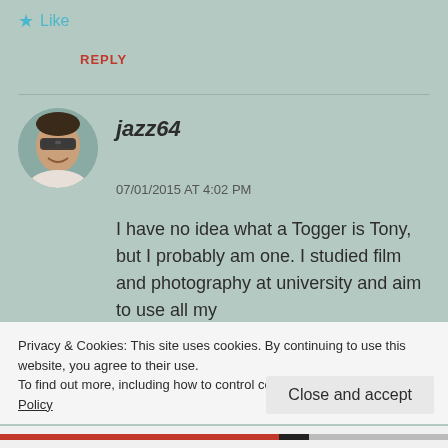★ Like
REPLY
jazz64
07/01/2015 AT 4:02 PM
I have no idea what a Togger is Tony, but I probably am one. I studied film and photography at university and aim to use all my
Privacy & Cookies: This site uses cookies. By continuing to use this website, you agree to their use.
To find out more, including how to control cookies, see here: Cookie Policy
Close and accept